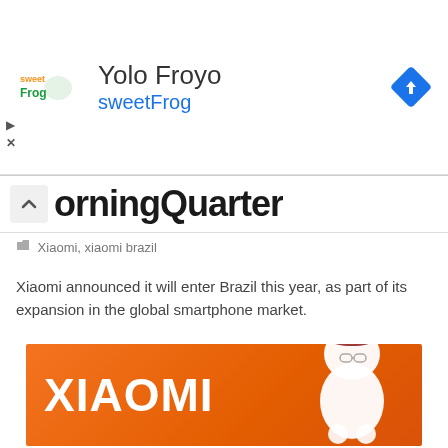[Figure (other): sweetFrog ad banner showing the sweetFrog logo, 'Yolo Froyo' title, 'sweetFrog' subtitle in blue, and a blue navigation diamond icon]
orningQuarter
Xiaomi, xiaomi brazil
Xiaomi announced it will enter Brazil this year, as part of its expansion in the global smartphone market.
[Figure (photo): Xiaomi branded orange background image with white XIAOMI text logo and the Xiaomi Mi Bunny mascot character wearing a cap with a star]